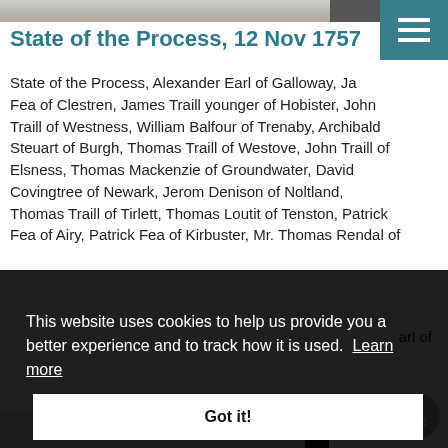[Figure (photo): Partial scan of a historical document at the top of the page]
State of the Process, 12 Nov 1757
State of the Process, Alexander Earl of Galloway, Ja[mes] Fea of Clestren, James Traill younger of Hobister, John Traill of Westness, William Balfour of Trenaby, Archibald Steuart of Burgh, Thomas Traill of Westove, John Traill of Elsness, Thomas Mackenzie of Groundwater, David Covingtree of Newark, Jerom Denison of Noltland, Thomas Traill of Tirlett, Thomas Loutit of Tenston, Patrick Fea of Airy, Patrick Fea of Kirbuster, Mr. Thomas Rendal of [...]  Mr. [...] arl of [...]
This website uses cookies to help us provide you a better experience and to track how it is used.  Learn more
Got it!
[Figure (photo): Partial scan of a historical document at the bottom of the page showing 'Memorial and Abstract']